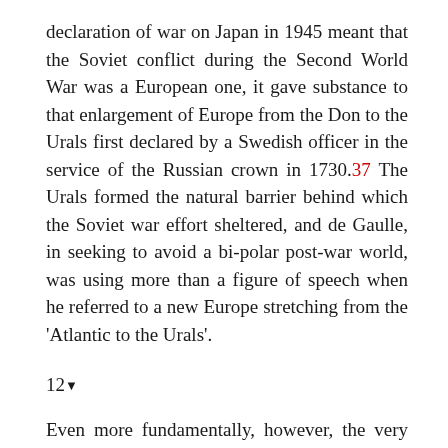declaration of war on Japan in 1945 meant that the Soviet conflict during the Second World War was a European one, it gave substance to that enlargement of Europe from the Don to the Urals first declared by a Swedish officer in the service of the Russian crown in 1730.37 The Urals formed the natural barrier behind which the Soviet war effort sheltered, and de Gaulle, in seeking to avoid a bi-polar post-war world, was using more than a figure of speech when he referred to a new Europe stretching from the 'Atlantic to the Urals'.
12▾
Even more fundamentally, however, the very processes of war, ideological radicalization and nation-state formation that originated in Europe destroyed European hegemony in the world (as shown by the decisive intervention of the USA on the continent from 1944) while spreading to new